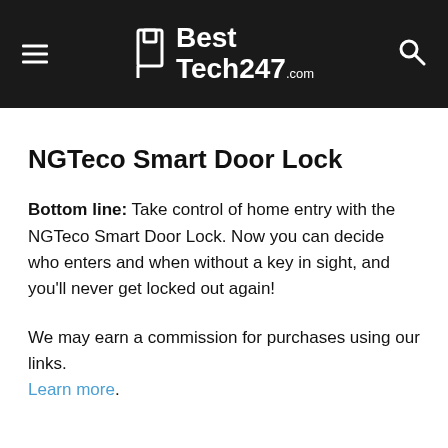BestTech247.com
NGTeco Smart Door Lock
Bottom line: Take control of home entry with the NGTeco Smart Door Lock. Now you can decide who enters and when without a key in sight, and you'll never get locked out again!
We may earn a commission for purchases using our links. Learn more.